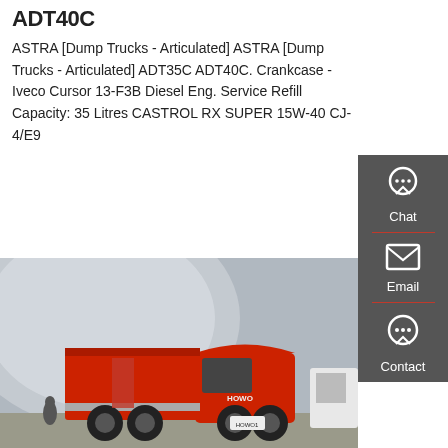ADT40C
ASTRA [Dump Trucks - Articulated] ASTRA [Dump Trucks - Articulated] ADT35C ADT40C. Crankcase - Iveco Cursor 13-F3B Diesel Eng. Service Refill Capacity: 35 Litres CASTROL RX SUPER 15W-40 CJ-4/E9
GET A QUOTE
[Figure (screenshot): Sidebar with Chat, Email, and Contact icons on dark grey background]
[Figure (photo): Red HOWO dump truck parked outdoors with a curved building structure in the background]